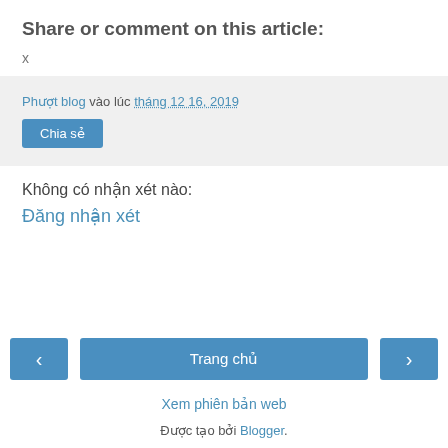Share or comment on this article:
x
Phượt blog vào lúc tháng 12 16, 2019
Chia sẻ
Không có nhận xét nào:
Đăng nhận xét
‹
Trang chủ
›
Xem phiên bản web
Được tạo bởi Blogger.